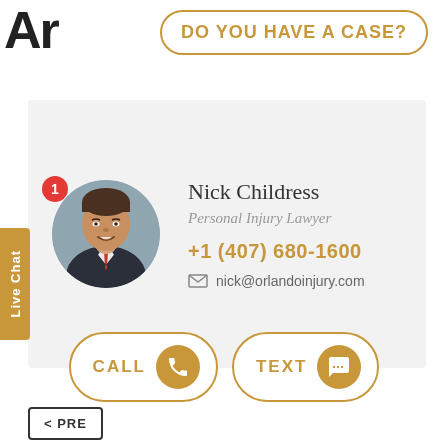Ar
DO YOU HAVE A CASE?
[Figure (photo): Circular headshot photo of Nick Childress, a personal injury lawyer, wearing a dark suit and red tie, smiling]
Nick Childress
Personal Injury Lawyer
+1 (407) 680-1600
nick@orlandoinjury.com
Live Chat
CALL
TEXT
< PRE